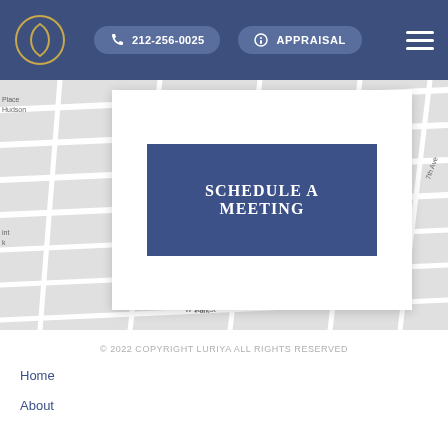[Figure (screenshot): Navigation bar with logo, phone number 212-256-0025, APPRAISAL button, and hamburger menu on dark blue background]
[Figure (map): Google Maps screenshot showing street map of Manhattan area near 14th Street Park, W 15th–W 30th Streets, 7th Ave and 8th Ave area]
[Figure (other): White card overlay on map with dark blue button labeled SCHEDULE A MEETING]
SCHEDULE A MEETING
© 2022 COPYRIGHT LURIYA ALL RIGHTS RESERVED
Home
About